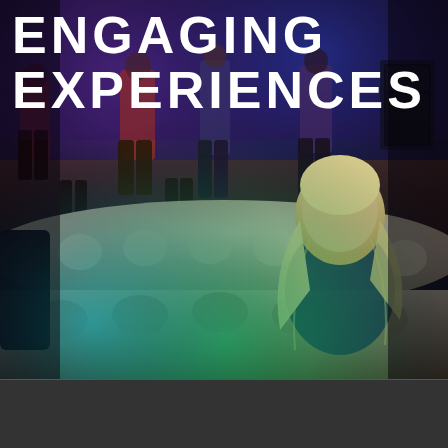[Figure (photo): Dark nightclub/event venue scene with people standing in the background lit by purple blue lighting, and a woman with long blonde hair seated in the foreground on a white tufted sofa/couch, illuminated by teal and green neon lighting at bottom]
ENGAGING EXPERIENCES